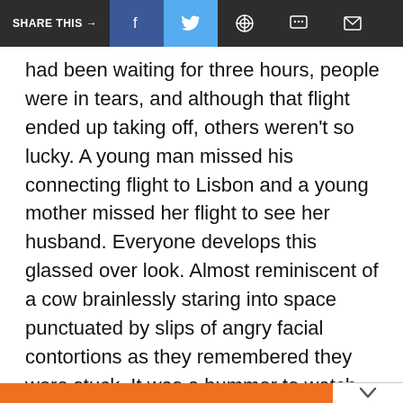SHARE THIS → f (Facebook) (Twitter) (WhatsApp) (Chat) (Email)
had been waiting for three hours, people were in tears, and although that flight ended up taking off, others weren't so lucky. A young man missed his connecting flight to Lisbon and a young mother missed her flight to see her husband. Everyone develops this glassed over look. Almost reminiscent of a cow brainlessly staring into space punctuated by slips of angry facial contortions as they remembered they were stuck. It was a bummer to watch and it made me increasingly uneasy about my journey back to Idaho … turns out with good reason